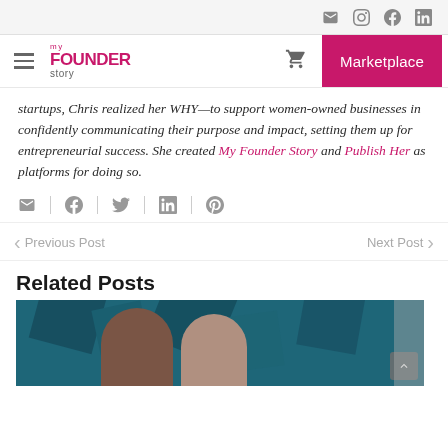Navigation bar with hamburger menu, My Founder Story logo, cart icon, and Marketplace button
startups, Chris realized her WHY—to support women-owned businesses in confidently communicating their purpose and impact, setting them up for entrepreneurial success. She created My Founder Story and Publish Her as platforms for doing so.
[Figure (other): Share icons row: email, facebook, twitter, linkedin, pinterest]
Previous Post   Next Post
Related Posts
[Figure (photo): Photo of two women in front of teal/dark blue geometric background shapes]